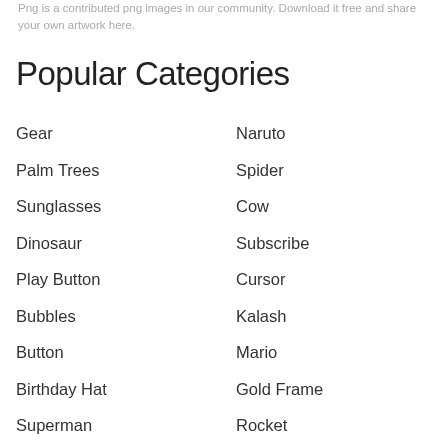Png is a contributed png images in our community. Download it free and share your own artwork here.
Popular Categories
Gear
Naruto
Palm Trees
Spider
Sunglasses
Cow
Dinosaur
Subscribe
Play Button
Cursor
Bubbles
Kalash
Button
Mario
Birthday Hat
Gold Frame
Superman
Rocket